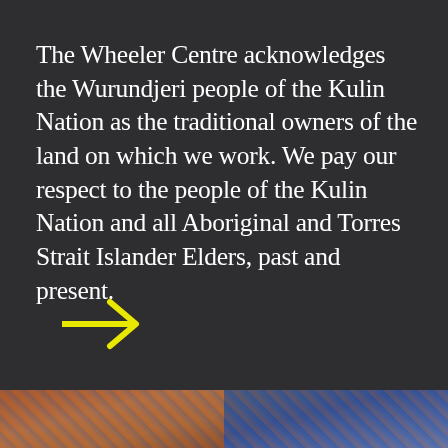The Wheeler Centre acknowledges the Wurundjeri people of the Kulin Nation as the traditional owners of the land on which we work. We pay our respect to the people of the Kulin Nation and all Aboriginal and Torres Strait Islander Elders, past and present.
[Figure (illustration): A yellow right-pointing arrow symbol]
[Figure (photo): A colorful decorative strip at the bottom of the page with orange, brown, and blue tones suggesting an artistic or cultural image]